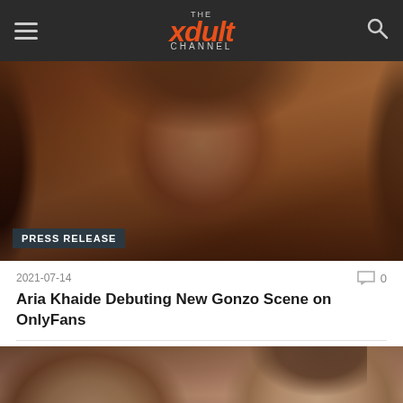THE xdult CHANNEL
[Figure (photo): Portrait photo of a dark-haired woman with label PRESS RELEASE]
2021-07-14
0
Aria Khaide Debuting New Gonzo Scene on OnlyFans
[Figure (photo): Close-up photo of two people]